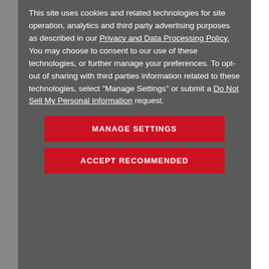This site uses cookies and related technologies for site operation, analytics and third party advertising purposes as described in our Privacy and Data Processing Policy. You may choose to consent to our use of these technologies, or further manage your preferences. To opt-out of sharing with third parties information related to these technologies, select "Manage Settings" or submit a Do Not Sell My Personal Information request.
MANAGE SETTINGS
ACCEPT RECOMMENDED